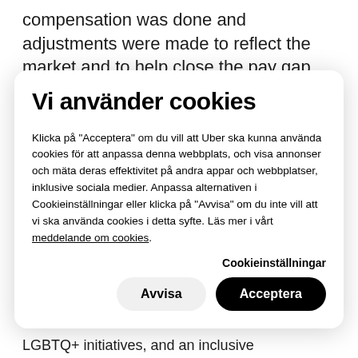compensation was done and adjustments were made to reflect the market and to help close the pay gap between men
Vi använder cookies
Klicka på "Acceptera" om du vill att Uber ska kunna använda cookies för att anpassa denna webbplats, och visa annonser och mäta deras effektivitet på andra appar och webbplatser, inklusive sociala medier. Anpassa alternativen i Cookieinställningar eller klicka på "Avvisa" om du inte vill att vi ska använda cookies i detta syfte. Läs mer i vårt meddelande om cookies.
Cookieinställningar
Avvisa
Acceptera
LGBTQ+ initiatives, and an inclusive